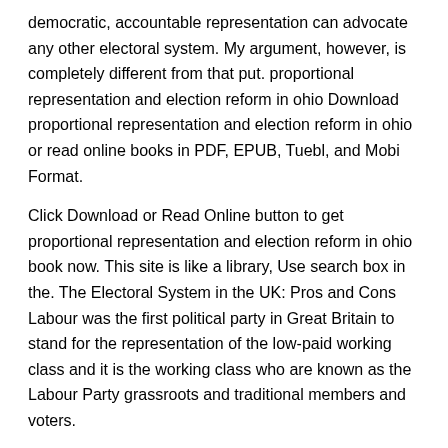democratic, accountable representation can advocate any other electoral system. My argument, however, is completely different from that put. proportional representation and election reform in ohio Download proportional representation and election reform in ohio or read online books in PDF, EPUB, Tuebl, and Mobi Format.
Click Download or Read Online button to get proportional representation and election reform in ohio book now. This site is like a library, Use search box in the. The Electoral System in the UK: Pros and Cons Labour was the first political party in Great Britain to stand for the representation of the low-paid working class and it is the working class who are known as the Labour Party grassroots and traditional members and voters.
A voting system or electoral system is a method by which voters.Political Representation and Elections in Britain Oregon State monographs: Studies in political science Volume 1 of Studies in Political Science - George Allen and Unwin Issue 1 of Studies in political science, ISSN Author: Peter G.